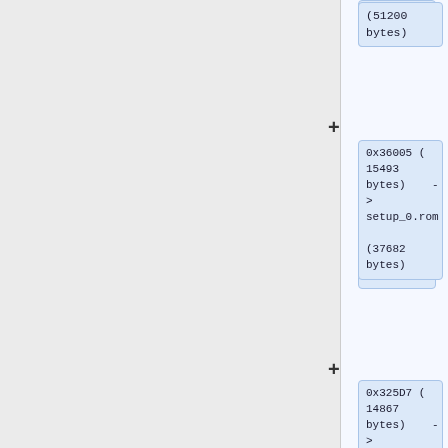[Figure (flowchart): Flowchart diagram showing ROM file nodes connected with plus signs. Three visible boxes on the right side: first box shows '(51200 bytes)', second box shows '0x36005 (15493 bytes) -> setup_0.rom (37682 bytes)', third box shows '0x325D7 (14867 bytes) -> template_0.rom (37728 bytes)', and a partial fourth box showing '0x2FA36 ('.]